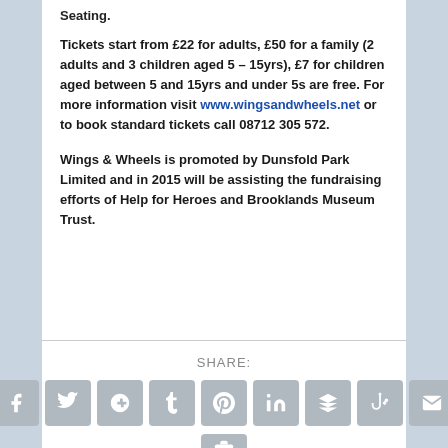Seating.
Tickets start from £22 for adults, £50 for a family (2 adults and 3 children aged 5 – 15yrs), £7 for children aged between 5 and 15yrs and under 5s are free. For more information visit www.wingsandwheels.net or to book standard tickets call 08712 305 572.
Wings & Wheels is promoted by Dunsfold Park Limited and in 2015 will be assisting the fundraising efforts of Help for Heroes and Brooklands Museum Trust.
SHARE:
[Figure (other): Row of social media sharing icon buttons: Facebook, Twitter, Google+, Tumblr, Pinterest, LinkedIn, Buffer, StumbleUpon, Email, and a partially visible print/share icon]